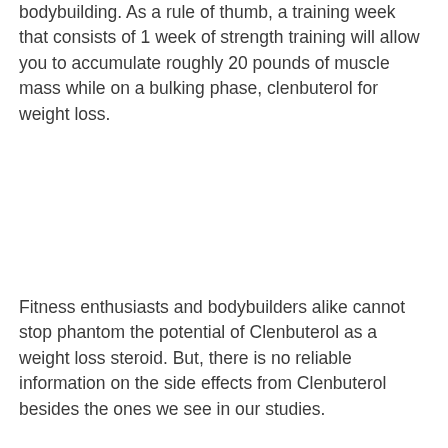bodybuilding. As a rule of thumb, a training week that consists of 1 week of strength training will allow you to accumulate roughly 20 pounds of muscle mass while on a bulking phase, clenbuterol for weight loss.
Fitness enthusiasts and bodybuilders alike cannot stop phantom the potential of Clenbuterol as a weight loss steroid. But, there is no reliable information on the side effects from Clenbuterol besides the ones we see in our studies.
There are several studies suggesting that Clenbuterol causes increased blood pressure, heart damage and other problems in patients. It is also known to increase the risk of liver cirrhosis and a reduction in muscle mass. It is a strong and reliable appetite suppressant and a muscle